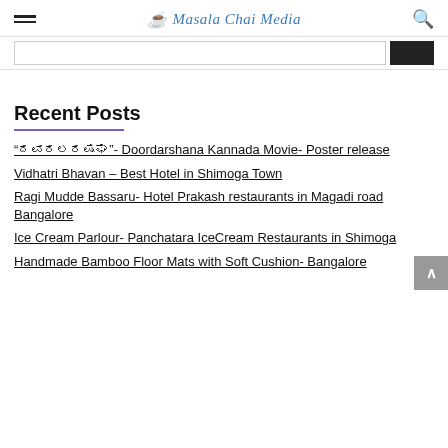Masala Chai Media
Recent Posts
“ದೂರದರ್ಶನ”- Doordarshana Kannada Movie- Poster release
Vidhatri Bhavan – Best Hotel in Shimoga Town
Ragi Mudde Bassaru- Hotel Prakash restaurants in Magadi road Bangalore
Ice Cream Parlour- Panchatara IceCream Restaurants in Shimoga
Handmade Bamboo Floor Mats with Soft Cushion- Bangalore